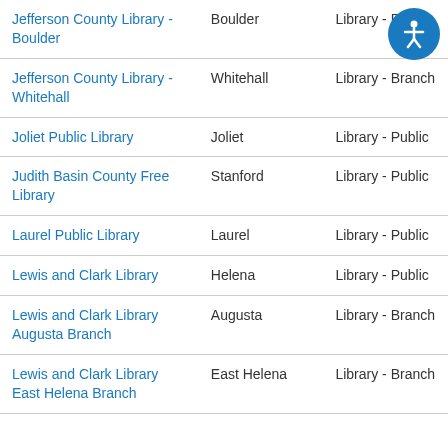| Jefferson County Library - Boulder | Boulder | Library - Public |
| Jefferson County Library - Whitehall | Whitehall | Library - Branch |
| Joliet Public Library | Joliet | Library - Public |
| Judith Basin County Free Library | Stanford | Library - Public |
| Laurel Public Library | Laurel | Library - Public |
| Lewis and Clark Library | Helena | Library - Public |
| Lewis and Clark Library Augusta Branch | Augusta | Library - Branch |
| Lewis and Clark Library East Helena Branch | East Helena | Library - Branch |